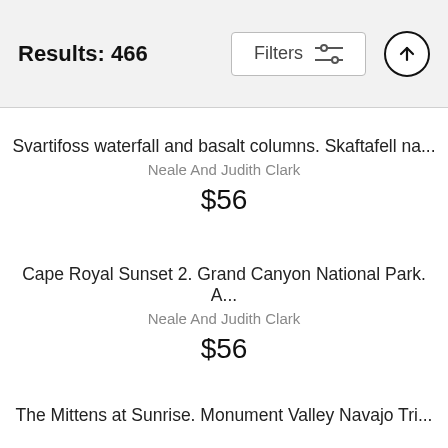Results: 466
Svartifoss waterfall and basalt columns. Skaftafell na...
Neale And Judith Clark
$56
Cape Royal Sunset 2. Grand Canyon National Park. A...
Neale And Judith Clark
$56
The Mittens at Sunrise. Monument Valley Navajo Tri...